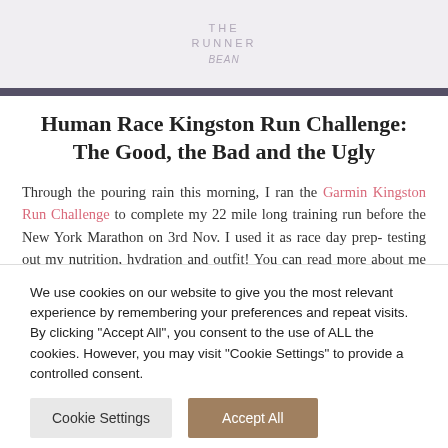THE RUNNER BEAN
Human Race Kingston Run Challenge: The Good, the Bad and the Ugly
Through the pouring rain this morning, I ran the Garmin Kingston Run Challenge to complete my 22 mile long training run before the New York Marathon on 3rd Nov. I used it as race day prep- testing out my nutrition, hydration and outfit! You can read more about me ‘Not Racing a Race’ here. Here’s my review of the Run
We use cookies on our website to give you the most relevant experience by remembering your preferences and repeat visits. By clicking “Accept All”, you consent to the use of ALL the cookies. However, you may visit “Cookie Settings” to provide a controlled consent.
Cookie Settings
Accept All